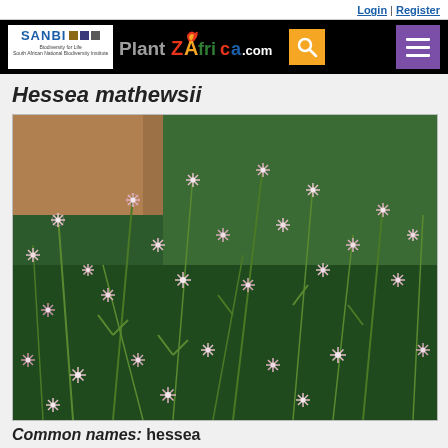Login | Register
[Figure (logo): SANBI PlantZAfrica.com website header navigation bar with SANBI logo, PlantZAfrica colorful text logo, yellow search button, and purple hamburger menu button on black background]
Hessea mathewsii
[Figure (photo): Close-up photograph of Hessea mathewsii plant showing numerous small pink star-shaped flowers on green stems against a rocky/soil background]
Common names: hessea